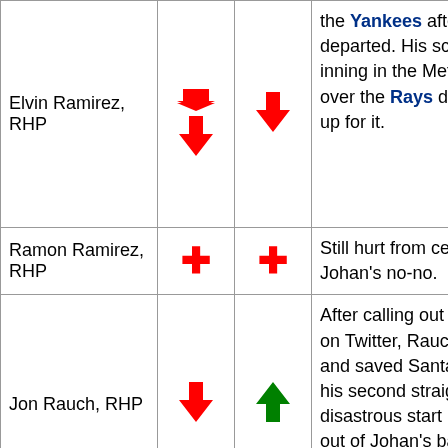| Player | Arrow1 | Arrow2 | Notes |
| --- | --- | --- | --- |
| Elvin Ramirez, RHP | ↓ | ↓ | the Yankees after Santana departed. His scoreless inning in the Mets' 11-2 win over the Rays didn't make up for it. |
| Ramon Ramirez, RHP | + | + | Still hurt from celebrating Johan's no-no. |
| Jon Rauch, RHP | ↓ | ↑ | After calling out the haters on Twitter, Rauch went out and saved Santana from his second straight disastrous start by getting out of Johan's bases-loaded, no-outs jam in the sixth inning yesterday. |
| Johan Santana, SP (partial) |  |  | Santana gave up 4 home runs against the Yankees and struggled against the... |